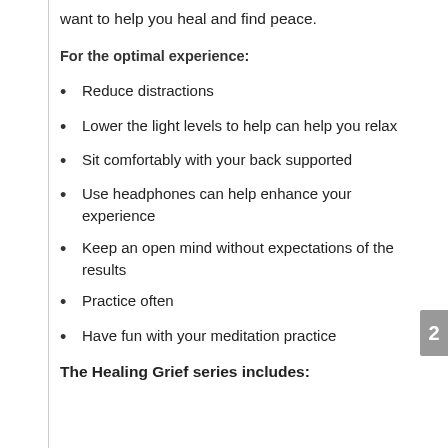want to help you heal and find peace.
For the optimal experience:
Reduce distractions
Lower the light levels to help can help you relax
Sit comfortably with your back supported
Use headphones can help enhance your experience
Keep an open mind without expectations of the results
Practice often
Have fun with your meditation practice
The Healing Grief series includes: